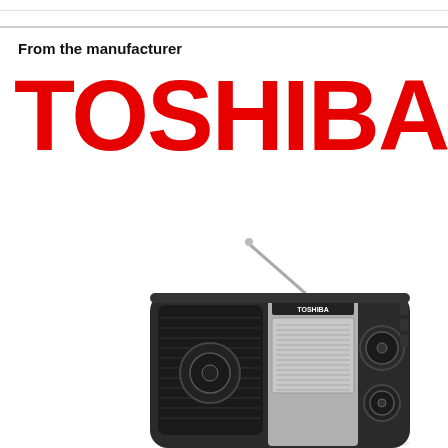From the manufacturer
[Figure (logo): TOSHIBA brand logo in large bold red text]
[Figure (photo): Toshiba portable multi-band radio with telescoping antenna, black body with silver/chrome panel, speaker grille on left, tuning dial display in center, knobs on right]